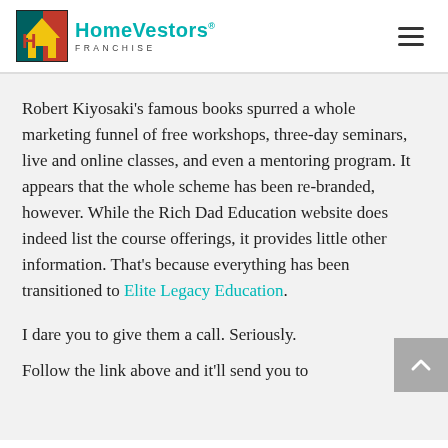[Figure (logo): HomeVestors Franchise logo with colored house icon and teal text]
Robert Kiyosaki's famous books spurred a whole marketing funnel of free workshops, three-day seminars, live and online classes, and even a mentoring program. It appears that the whole scheme has been re-branded, however. While the Rich Dad Education website does indeed list the course offerings, it provides little other information. That's because everything has been transitioned to Elite Legacy Education.
I dare you to give them a call. Seriously.
Follow the link above and it'll send you to...